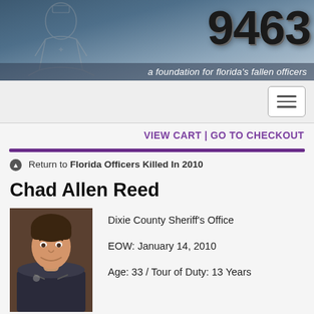[Figure (illustration): Website header banner with sketched officer silhouette on left, large bold number '9463' on right, and tagline 'a foundation for florida's fallen officers' at bottom]
[Figure (screenshot): Navigation bar with hamburger menu button on right]
VIEW CART | GO TO CHECKOUT
Return to Florida Officers Killed In 2010
Chad Allen Reed
[Figure (photo): Portrait photo of Chad Allen Reed, a man in law enforcement uniform, smiling]
Dixie County Sheriff's Office
EOW: January 14, 2010
Age: 33 / Tour of Duty: 13 Years